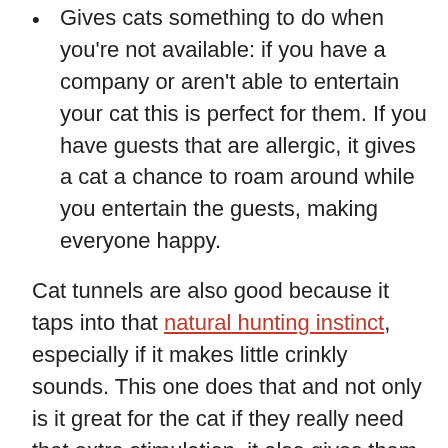Gives cats something to do when you're not available: if you have a company or aren't able to entertain your cat this is perfect for them. If you have guests that are allergic, it gives a cat a chance to roam around while you entertain the guests, making everyone happy.
Cat tunnels are also good because it taps into that natural hunting instinct, especially if it makes little crinkly sounds. This one does that and not only is it great for the cat if they really need that extra stimulation, it also gives them privacy. Cats love to hunt and allowing them to